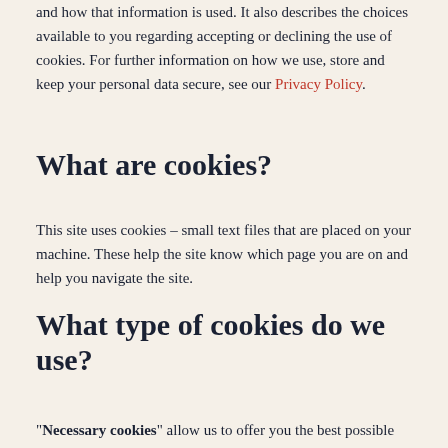and how that information is used. It also describes the choices available to you regarding accepting or declining the use of cookies. For further information on how we use, store and keep your personal data secure, see our Privacy Policy.
What are cookies?
This site uses cookies – small text files that are placed on your machine. These help the site know which page you are on and help you navigate the site.
What type of cookies do we use?
“Necessary cookies” allow us to offer you the best possible